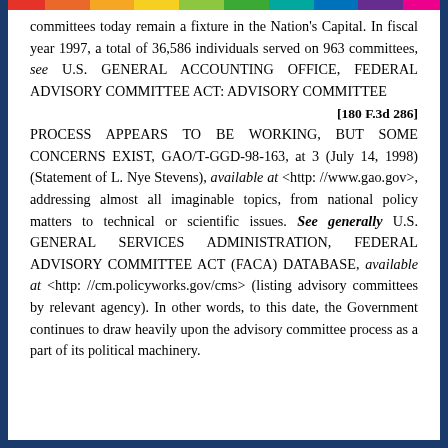committees today remain a fixture in the Nation's Capital. In fiscal year 1997, a total of 36,586 individuals served on 963 committees, see U.S. GENERAL ACCOUNTING OFFICE, FEDERAL ADVISORY COMMITTEE ACT: ADVISORY COMMITTEE
[180 F.3d 286]
PROCESS APPEARS TO BE WORKING, BUT SOME CONCERNS EXIST, GAO/T-GGD-98-163, at 3 (July 14, 1998) (Statement of L. Nye Stevens), available at <http: //www.gao.gov>, addressing almost all imaginable topics, from national policy matters to technical or scientific issues. See generally U.S. GENERAL SERVICES ADMINISTRATION, FEDERAL ADVISORY COMMITTEE ACT (FACA) DATABASE, available at <http: //cm.policyworks.gov/cms> (listing advisory committees by relevant agency). In other words, to this date, the Government continues to draw heavily upon the advisory committee process as a part of its political machinery.